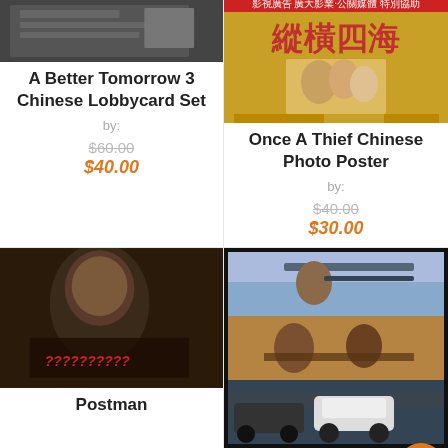[Figure (photo): Product photo for A Better Tomorrow 3 Chinese Lobbycard Set - partially visible at top]
A Better Tomorrow 3 Chinese Lobbycard Set
by:
$60.00
$40.00
[Figure (photo): Once A Thief Chinese movie poster with yellow background and Chinese characters]
Once A Thief Chinese Photo Poster
by:
$40.00
$30.00
[Figure (photo): Postman movie product photo - dark toned film poster image]
Postman
[Figure (photo): Action movie photo showing people with guns, cars, multiple scenes collage with SALE badge]
SALE!
SALE!